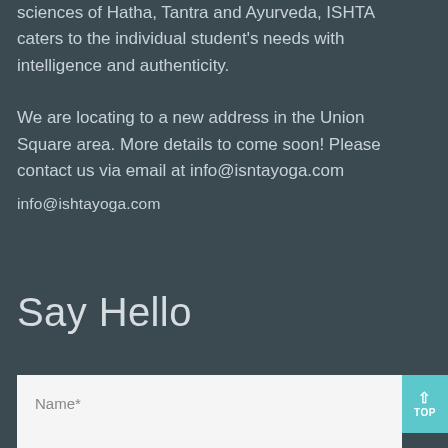sciences of Hatha, Tantra and Ayurveda, ISHTA caters to the individual student's needs with intelligence and authenticity.

We are locating to a new address in the Union Square area. More details to come soon! Please contact us via email at info@isntayoga.com
info@ishtayoga.com
Say Hello
Name*